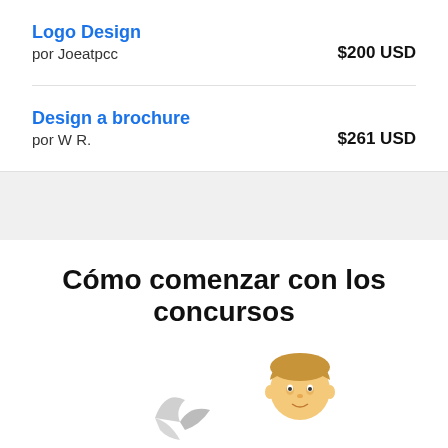Logo Design
por Joeatpcc   $200 USD
Design a brochure
por W R.   $261 USD
Cómo comenzar con los concursos
[Figure (illustration): Illustration of a person with a bird/paper airplane icon, partially visible at the bottom of the page]